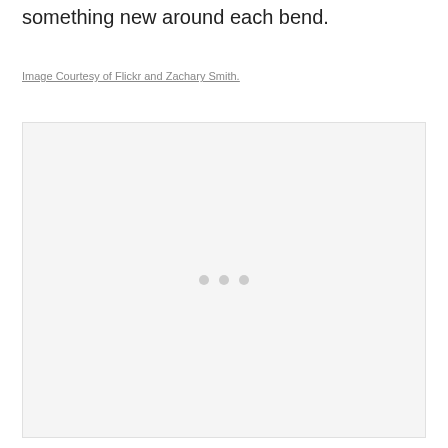something new around each bend.
Image Courtesy of Flickr and Zachary Smith.
[Figure (photo): A loading placeholder image box with a light gray background and three small gray dots in the center indicating a loading state.]